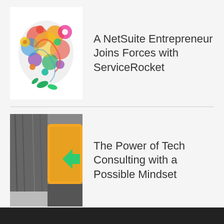[Figure (illustration): Colorful floral/splash illustration on white background]
A NetSuite Entrepreneur Joins Forces with ServiceRocket
[Figure (photo): Urban photo showing tree bark and yellow traffic light with arrow]
The Power of Tech Consulting with a Possible Mindset
[Figure (photo): Blue sky photo with diagonal line/rope]
Our Engineers Adopt RAD to Accelerate App Innovation
[Figure (other): Orange circular Menu button overlay]